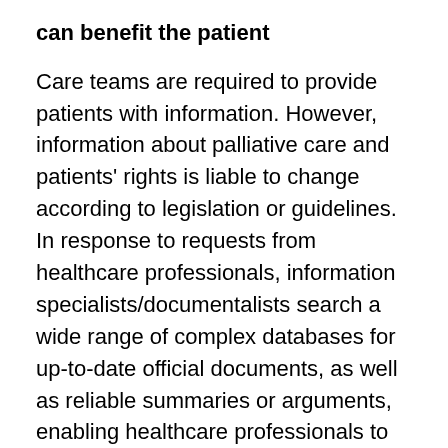can benefit the patient
Care teams are required to provide patients with information. However, information about palliative care and patients' rights is liable to change according to legislation or guidelines. In response to requests from healthcare professionals, information specialists/documentalists search a wide range of complex databases for up-to-date official documents, as well as reliable summaries or arguments, enabling healthcare professionals to provide patients with current, authenticated information. This dual expertise, thus, ensures quality information is communicated to patients at the end of life.
Similarly, when patients search for information about their health and illness, on their own initiative, conflictual